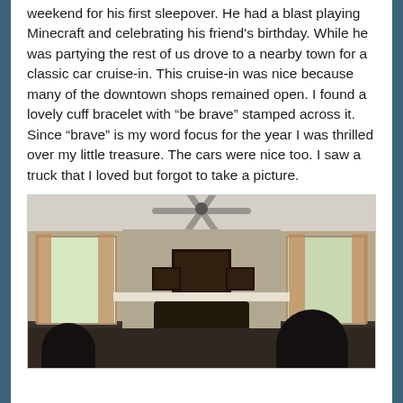weekend for his first sleepover. He had a blast playing Minecraft and celebrating his friend's birthday. While he was partying the rest of us drove to a nearby town for a classic car cruise-in. This cruise-in was nice because many of the downtown shops remained open. I found a lovely cuff bracelet with “be brave” stamped across it. Since “brave” is my word focus for the year I was thrilled over my little treasure. The cars were nice too. I saw a truck that I loved but forgot to take a picture.
[Figure (photo): Interior photo of a living room showing a ceiling fan at top, a stone fireplace with framed pictures on the mantle, two windows with curtains on either side, and dark silhouettes of people at the bottom of the frame.]